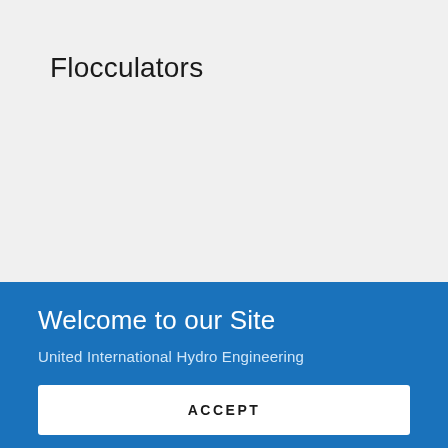Flocculators
Welcome to our Site
United International Hydro Engineering
ACCEPT